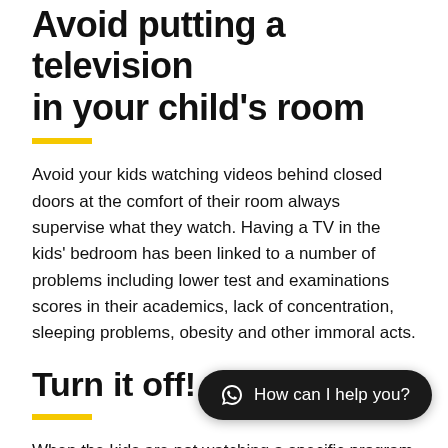Avoid putting a television in your child's room
Avoid your kids watching videos behind closed doors at the comfort of their room always supervise what they watch. Having a TV in the kids' bedroom has been linked to a number of problems including lower test and examinations scores in their academics, lack of concentration, sleeping problems, obesity and other immoral acts.
Turn it off!
When the kids are not watching a specific program or using a particular device, turn it off. Keep them off during mealtimes and especially when they are studying or doing homework, also block access to sites that you don't want